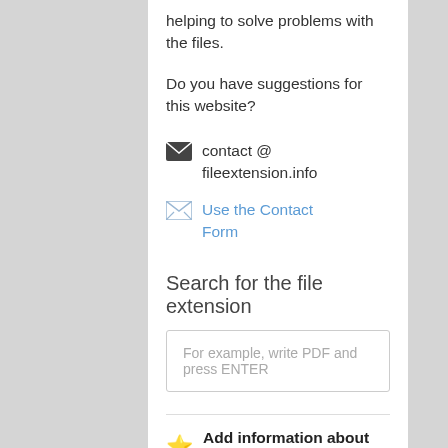helping to solve problems with the files.
Do you have suggestions for this website?
contact @ fileextension.info
Use the Contact Form
Search for the file extension
For example, write PDF and press ENTER
Add information about the .LDIF file
If you want to share your knowledge about the .LDIF file with the users of FileExtension.info, write the description of the file, please contact